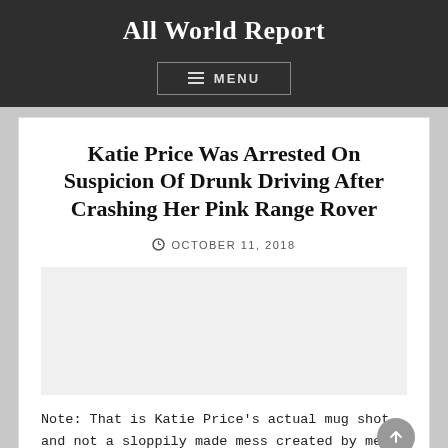All World Report
Katie Price Was Arrested On Suspicion Of Drunk Driving After Crashing Her Pink Range Rover
OCTOBER 11, 2018
Note: That is Katie Price's actual mug shot and not a sloppily made mess created by me.